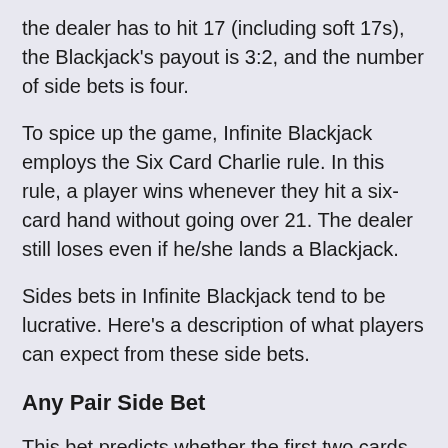the dealer has to hit 17 (including soft 17s), the Blackjack's payout is 3:2, and the number of side bets is four.
To spice up the game, Infinite Blackjack employs the Six Card Charlie rule. In this rule, a player wins whenever they hit a six-card hand without going over 21. The dealer still loses even if he/she lands a Blackjack.
Sides bets in Infinite Blackjack tend to be lucrative. Here's a description of what players can expect from these side bets.
Any Pair Side Bet
This bet predicts whether the first two cards awarded to a player will be a pair. The standard payout for this wager is 8:1. However, there is a mouthwatering payout of 25:1 whenever a punter lands a suited pair.